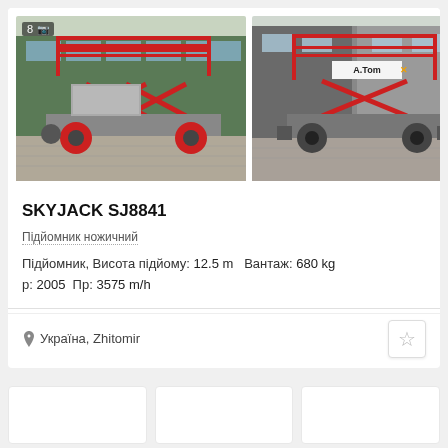[Figure (photo): Red SKYJACK SJ8841 scissor lift aerial work platform, side/rear view, parked on a paved surface in front of a green warehouse building. Badge shows '8' and a camera icon.]
[Figure (photo): Red SKYJACK SJ8841 scissor lift front view with A.TomX branding on the platform, parked on a paved surface in front of a grey/green industrial building.]
SKYJACK SJ8841
Підйомник ножичний
Підйомник, Висота підйому: 12.5 m   Вантаж: 680 kg
р: 2005   Пр: 3575 m/h
Україна, Zhitomir